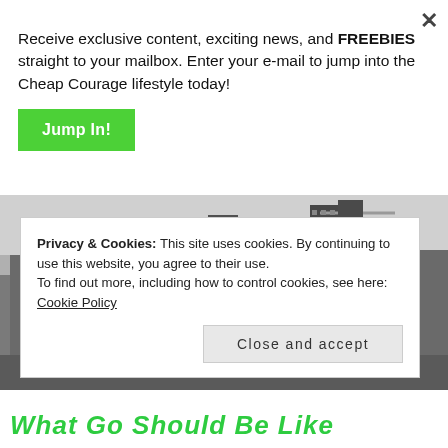×
Receive exclusive content, exciting news, and FREEBIES straight to your mailbox. Enter your e-mail to jump into the Cheap Courage lifestyle today!
Jump In!
[Figure (photo): Black and white aerial cityscape photo of a dense urban skyline with tall skyscrapers]
Privacy & Cookies: This site uses cookies. By continuing to use this website, you agree to their use. To find out more, including how to control cookies, see here: Cookie Policy
Close and accept
What Go Should Be Like